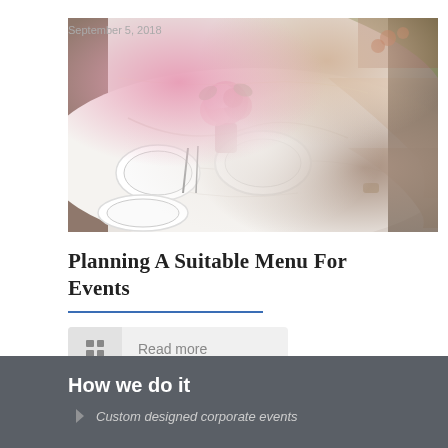September 5, 2018
[Figure (photo): A woman setting a table with white plates and a pink floral centerpiece arrangement, photo taken from above at an angle.]
Planning A Suitable Menu For Events
Read more
How we do it
Custom designed corporate events